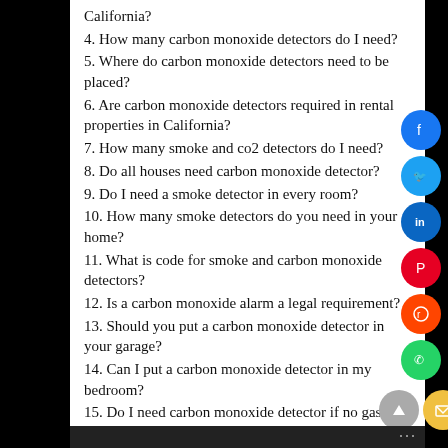California?
4. How many carbon monoxide detectors do I need?
5. Where do carbon monoxide detectors need to be placed?
6. Are carbon monoxide detectors required in rental properties in California?
7. How many smoke and co2 detectors do I need?
8. Do all houses need carbon monoxide detector?
9. Do I need a smoke detector in every room?
10. How many smoke detectors do you need in your home?
11. What is code for smoke and carbon monoxide detectors?
12. Is a carbon monoxide alarm a legal requirement?
13. Should you put a carbon monoxide detector in your garage?
14. Can I put a carbon monoxide detector in my bedroom?
15. Do I need carbon monoxide detector if no gas?
16. Can you get a free carbon monoxide detector?